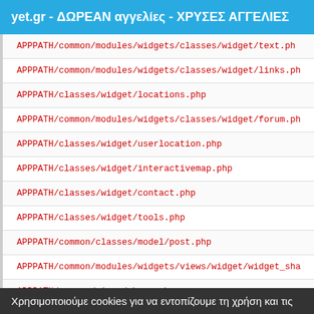yet.gr - ΔΩΡΕΑΝ αγγελίες - ΧΡΥΣΕΣ ΑΓΓΕΛΙΕΣ
APPPATH/common/modules/widgets/classes/widget/text.ph
APPPATH/common/modules/widgets/classes/widget/links.ph
APPPATH/classes/widget/locations.php
APPPATH/common/modules/widgets/classes/widget/forum.ph
APPPATH/classes/widget/userlocation.php
APPPATH/classes/widget/interactivemap.php
APPPATH/classes/widget/contact.php
APPPATH/classes/widget/tools.php
APPPATH/common/classes/model/post.php
APPPATH/common/modules/widgets/views/widget/widget_sha
APPPATH/common/views/share.php
Χρησιμοποιούμε cookies για να εντοπίζουμε τη χρήση και τις